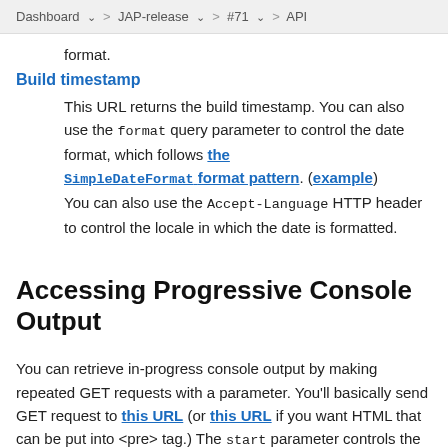Dashboard > JAP-release > #71 > API
format.
Build timestamp
This URL returns the build timestamp. You can also use the format query parameter to control the date format, which follows the SimpleDateFormat format pattern. (example) You can also use the Accept-Language HTTP header to control the locale in which the date is formatted.
Accessing Progressive Console Output
You can retrieve in-progress console output by making repeated GET requests with a parameter. You'll basically send GET request to this URL (or this URL if you want HTML that can be put into <pre> tag.) The start parameter controls the byte offset of where you start.